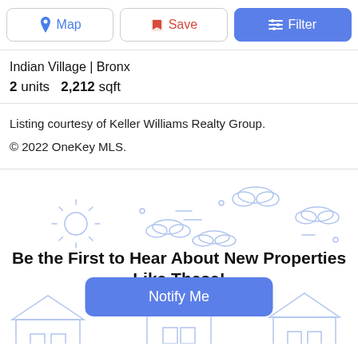[Figure (screenshot): Toolbar with Map, Save, and Filter buttons]
Indian Village | Bronx
2 units   2,212 sqft
Listing courtesy of Keller Williams Realty Group.
© 2022 OneKey MLS.
[Figure (illustration): Decorative background with sun, clouds, and house outlines. Contains text: 'Be the First to Hear About New Properties Like These!' and a 'Notify Me' button.]